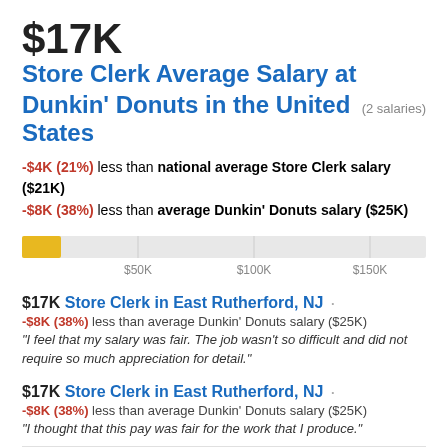$17K Store Clerk Average Salary at Dunkin' Donuts in the United States (2 salaries)
-$4K (21%) less than national average Store Clerk salary ($21K)
-$8K (38%) less than average Dunkin' Donuts salary ($25K)
[Figure (bar-chart): Salary scale]
$17K Store Clerk in East Rutherford, NJ
-$8K (38%) less than average Dunkin' Donuts salary ($25K)
"I feel that my salary was fair. The job wasn't so difficult and did not require so much appreciation for detail."
$17K Store Clerk in East Rutherford, NJ
-$8K (38%) less than average Dunkin' Donuts salary ($25K)
"I thought that this pay was fair for the work that I produce."